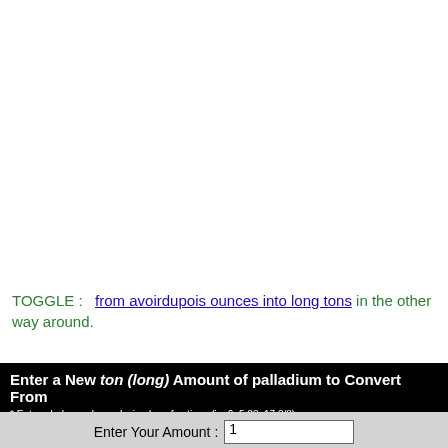TOGGLE : from avoirdupois ounces into long tons in the other way around.
Enter a New ton (long) Amount of palladium to Convert From
* Enter whole numbers, decimals or fractions (ie: 6, 5.33, 17 3/8)
Enter Your Amount : 1